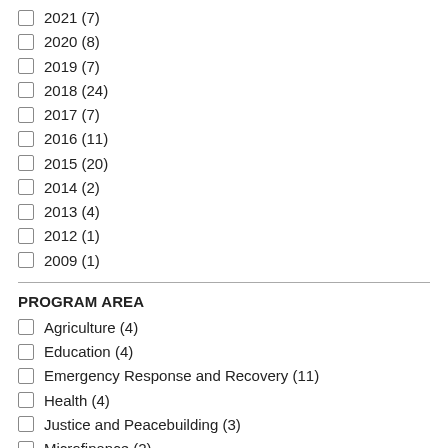2021 (7)
2020 (8)
2019 (7)
2018 (24)
2017 (7)
2016 (11)
2015 (20)
2014 (2)
2013 (4)
2012 (1)
2009 (1)
PROGRAM AREA
Agriculture (4)
Education (4)
Emergency Response and Recovery (11)
Health (4)
Justice and Peacebuilding (3)
Microfinance (2)
Partnership and Capacity Strengthening (2)
Water and Agriculture (1)
Water Security (1)